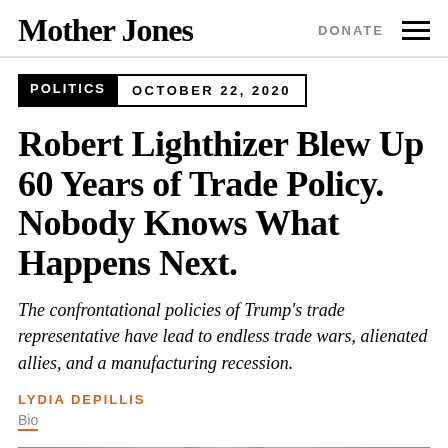Mother Jones
DONATE
POLITICS  OCTOBER 22, 2020
Robert Lighthizer Blew Up 60 Years of Trade Policy. Nobody Knows What Happens Next.
The confrontational policies of Trump's trade representative have lead to endless trade wars, alienated allies, and a manufacturing recession.
LYDIA DEPILLIS
Bio
[Figure (photo): Photo of Robert Lighthizer, a man with light gray hair, head and shoulders visible against a neutral background]